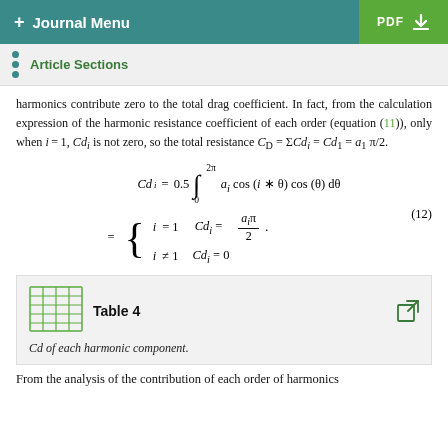+ Journal Menu | PDF
Article Sections
harmonics contribute zero to the total drag coefficient. In fact, from the calculation expression of the harmonic resistance coefficient of each order (equation (11)), only when i = 1, Cd_i is not zero, so the total resistance C_D = ΣCd_i = Cd_1 = a_1 π/2.
Table 4
Cd of each harmonic component.
From the analysis of the contribution of each order of harmonics